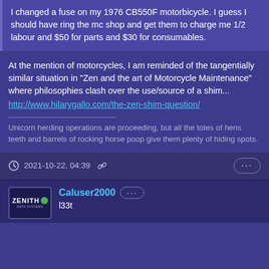I changed a fuse on my 1976 CB550F motorbicycle. I guess I should have ring the mc shop and get them to charge me 1/2 labour and $50 for parts and $30 for consumables.
At the mention of motorcycles, I am reminded of the tangentially similar situation in "Zen and the art of Motorcycle Maintenance" where philosophies clash over the use/source of a shim...
http://www.hilarygallo.com/the-zen-shim-question/
Unicorn herding operations are proceeding, but all the totes of hens teeth and barrels of rocking horse poop give them plenty of hiding spots.
2021-10-22, 04:39
Caluser2000
l33t